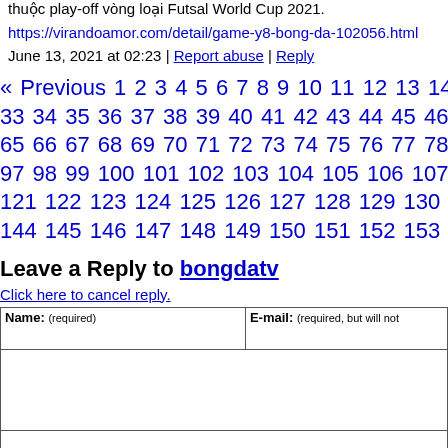thuộc play-off vòng loại Futsal World Cup 2021.
https://virandoamor.com/detail/game-y8-bong-da-102056.html
June 13, 2021 at 02:23 | Report abuse | Reply
« Previous 1 2 3 4 5 6 7 8 9 10 11 12 13 14 15 16 17 18 19 20 21 22 ... 33 34 35 36 37 38 39 40 41 42 43 44 45 46 47 48 49 50 51 52 53 54 ... 65 66 67 68 69 70 71 72 73 74 75 76 77 78 79 80 81 82 83 84 85 86 ... 97 98 99 100 101 102 103 104 105 106 107 108 109 110 111 112 113 ... 121 122 123 124 125 126 127 128 129 130 131 132 133 134 135 136 ... 144 145 146 147 148 149 150 151 152 153 154 155 156 157 158 159 ...
Leave a Reply to bongdatv
Click here to cancel reply.
CNN welcomes a lively and courteous discussion as long as you follow the Rules our Terms of Service. Comments are not pre-screened before they post. You agree